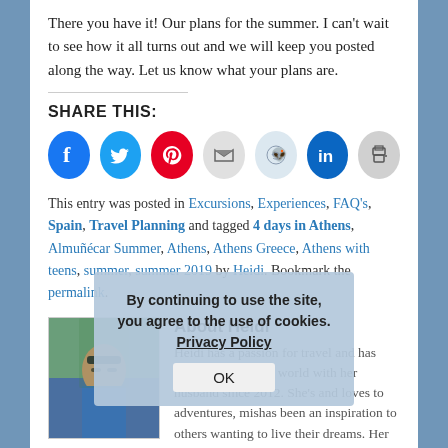There you have it!  Our plans for the summer.  I can't wait to see how it all turns out and we will keep you posted along the way.  Let us know what your plans are.
SHARE THIS:
[Figure (infographic): Row of social media sharing icons: Facebook (blue), Twitter (cyan), Pinterest (red), Email (grey), Reddit (light blue), LinkedIn (blue), Print (grey)]
This entry was posted in Excursions, Experiences, FAQ's, Spain, Travel Planning and tagged 4 days in Athens, Almuñécar Summer, Athens, Athens Greece, Athens with teens, summer, summer 2019 by Heidi. Bookmark the permalink.
About Heidi
[Figure (photo): Author photo of Heidi, a woman with sunglasses outdoors]
Heidi has a passion for travel and has been exploring the world with her husband since 2012. She's and loves to adventures, mishas been an inspiration to others wanting to live their dreams. Her travel tips, planning posts, cost breakdowns, accommodation and
By continuing to use the site, you agree to the use of cookies. Privacy Policy